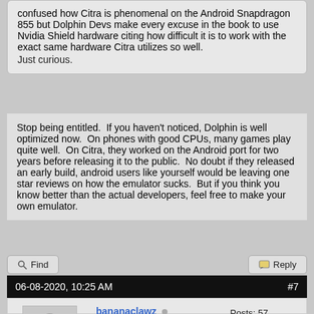confused how Citra is phenomenal on the Android Snapdragon 855 but Dolphin Devs make every excuse in the book to use Nvidia Shield hardware citing how difficult it is to work with the exact same hardware Citra utilizes so well.

Just curious.
Stop being entitled.  If you haven't noticed, Dolphin is well optimized now.  On phones with good CPUs, many games play quite well.  On Citra, they worked on the Android port for two years before releasing it to the public.  No doubt if they released an early build, android users like yourself would be leaving one star reviews on how the emulator sucks.  But if you think you know better than the actual developers, feel free to make your own emulator.
Find
Reply
06-08-2020, 10:25 AM
#7
bananaclawz
Member
Posts: 57
Threads: 10
Joined: Jul 2009
LG Fanatic Wrote: (06-02-2020, 09:22 AM)
Stop being entitled.  If you haven't noticed, Dolphin is well